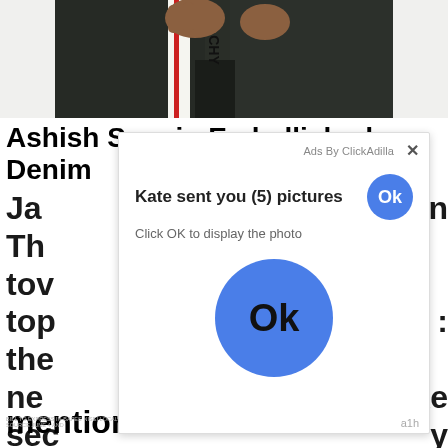[Figure (photo): Close-up photo of a person's lower torso wearing dark trousers with a visible brand label reading 'CHY' on the side, hands at sides.]
Ashish Sequin Embellished Denim Jacket
The... tow... top... the... ne... se... mentioned I bleached it.
[Figure (screenshot): Ad popup overlay from ClickAdilla showing: 'Kate sent you (5) pictures' with a small blue Ok button, subtext 'Click OK to display the photo', a large blue Ok button circle, and a footer with 'a1h'.]